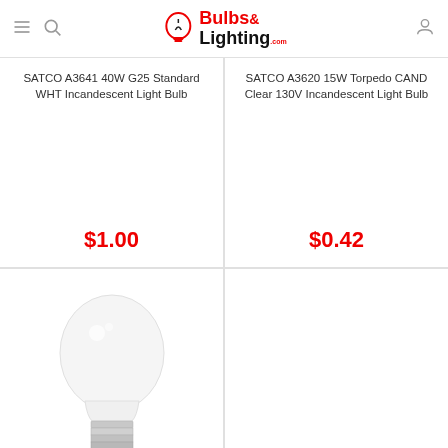Bulbs & Lighting
SATCO A3641 40W G25 Standard WHT Incandescent Light Bulb
$1.00
SATCO A3620 15W Torpedo CAND Clear 130V Incandescent Light Bulb
$0.42
[Figure (photo): Photo of a white LED light bulb (A-shape) with E26 base]
SATCO S9786